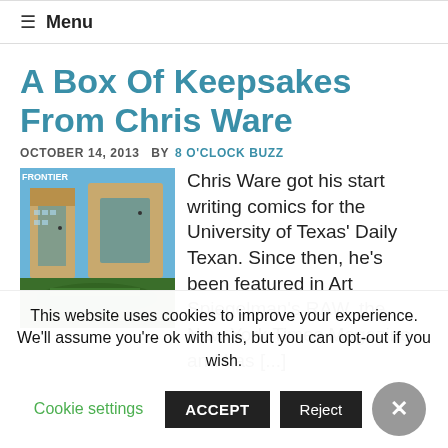≡ Menu
A Box Of Keepsakes From Chris Ware
OCTOBER 14, 2013  BY 8 O'CLOCK BUZZ
[Figure (illustration): Cover image of a comic book or magazine showing a large building shaped like '50' with aerial city view, blue sky background.]
Chris Ware got his start writing comics for the University of Texas' Daily Texan. Since then, he's been featured in Art Spiegelman's RAW, the New York Times Magazine and has [...]
This website uses cookies to improve your experience. We'll assume you're ok with this, but you can opt-out if you wish.
Cookie settings  ACCEPT  Reject